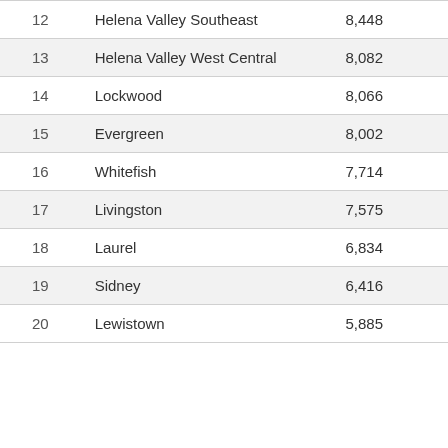|  |  |  |
| --- | --- | --- |
| 12 | Helena Valley Southeast | 8,448 |
| 13 | Helena Valley West Central | 8,082 |
| 14 | Lockwood | 8,066 |
| 15 | Evergreen | 8,002 |
| 16 | Whitefish | 7,714 |
| 17 | Livingston | 7,575 |
| 18 | Laurel | 6,834 |
| 19 | Sidney | 6,416 |
| 20 | Lewistown | 5,885 |